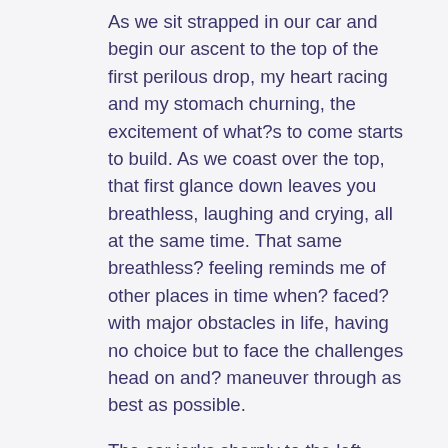As we sit strapped in our car and begin our ascent to the top of the first perilous drop, my heart racing and my stomach churning, the excitement of what’s to come starts to build. As we coast over the top, that first glance down leaves you breathless, laughing and crying, all at the same time. That same breathless’ feeling reminds me of other places in time when’ faced’ with major obstacles in life, having no choice but to face the challenges head on and’ maneuver through as best as possible.
The car jerks sharply to the left, another life challenge, quick veer